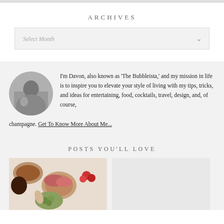ARCHIVES
Select Month
I'm Davon, also known as 'The Bubbleista,' and my mission in life is to inspire you to elevate your style of living with my tips, tricks, and ideas for entertaining, food, cocktails, travel, design, and, of course, champagne. Get To Know More About Me...
POSTS YOU'LL LOVE
[Figure (photo): Food/charcuterie spread with meats, fruits, olives in wooden bowls on white surface]
[Figure (photo): Second post thumbnail placeholder]